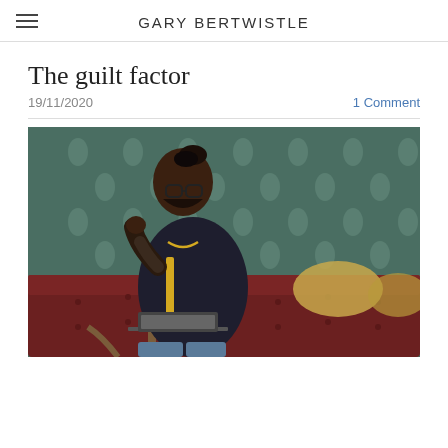GARY BERTWISTLE
The guilt factor
19/11/2020
1 Comment
[Figure (photo): A young man with a bun hairstyle, glasses, and a dark long-sleeve shirt with yellow stripe, sitting in a wooden chair in front of an ornate red sofa and teal damask wallpaper, holding his chin thoughtfully with a laptop on his lap.]